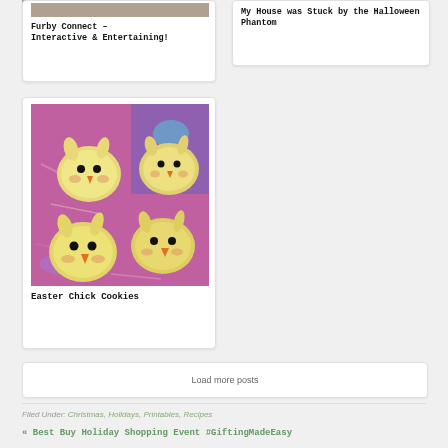[Figure (photo): Partial photo of a person at top of card (Furby Connect article card)]
Furby Connect – Interactive & Entertaining!
My House was Stuck by the Halloween Phantom
[Figure (photo): Easter Chick Cookies – yellow chick-shaped cookies with orange beaks and black eyes on pink shredded paper background]
Easter Chick Cookies
Load more posts
Filed Under: Christmas, Holidays, Printables, Recipes
« Best Buy Holiday Shopping Event #GiftingMadeEasy